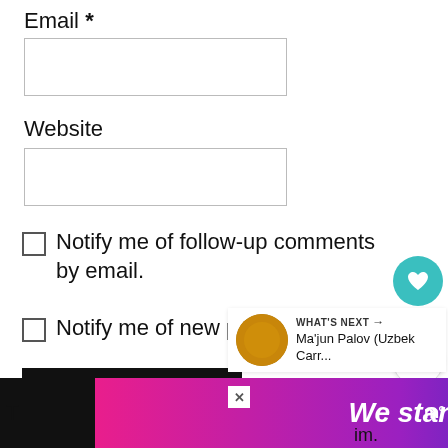Email *
[Figure (screenshot): Empty text input field for email]
Website
[Figure (screenshot): Empty text input field for website]
Notify me of follow-up comments by email.
Notify me of new posts by email.
[Figure (screenshot): POST COMMENT black button]
[Figure (screenshot): Floating heart button with teal background showing heart icon, count 31, and share button below]
[Figure (screenshot): What's Next widget showing Ma'jun Palov (Uzbek Carr... with a circular food thumbnail]
[Figure (screenshot): Advertisement banner: We stand with you. on gradient pink/purple/blue background with MSNBC logo]